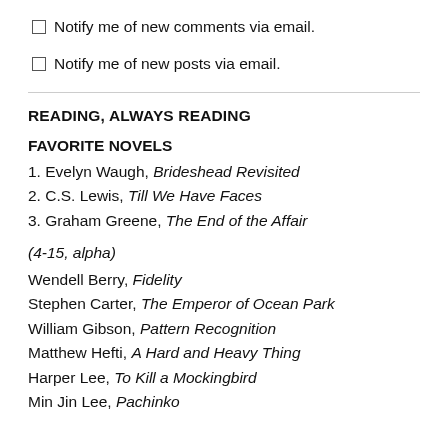Notify me of new comments via email.
Notify me of new posts via email.
READING, ALWAYS READING
FAVORITE NOVELS
1. Evelyn Waugh, Brideshead Revisited
2. C.S. Lewis, Till We Have Faces
3. Graham Greene, The End of the Affair
(4-15, alpha)
Wendell Berry, Fidelity
Stephen Carter, The Emperor of Ocean Park
William Gibson, Pattern Recognition
Matthew Hefti, A Hard and Heavy Thing
Harper Lee, To Kill a Mockingbird
Min Jin Lee, Pachinko